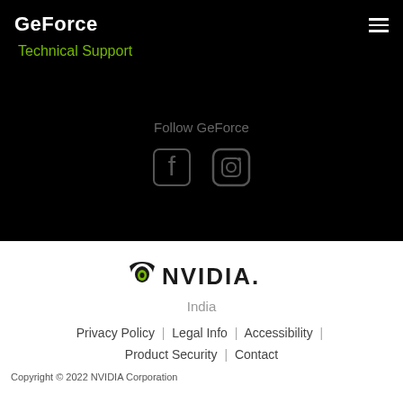GeForce
Technical Support
Follow GeForce
[Figure (logo): NVIDIA logo with eye icon]
India
Privacy Policy | Legal Info | Accessibility | Product Security | Contact
Copyright © 2022 NVIDIA Corporation